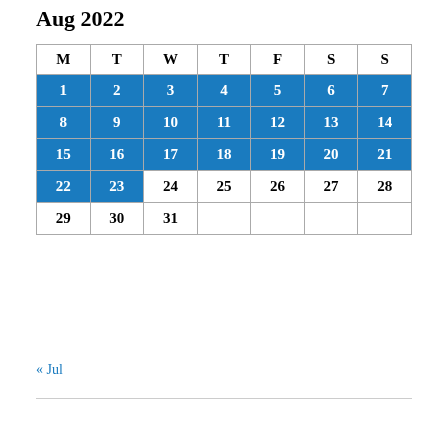Aug 2022
| M | T | W | T | F | S | S |
| --- | --- | --- | --- | --- | --- | --- |
| 1 | 2 | 3 | 4 | 5 | 6 | 7 |
| 8 | 9 | 10 | 11 | 12 | 13 | 14 |
| 15 | 16 | 17 | 18 | 19 | 20 | 21 |
| 22 | 23 | 24 | 25 | 26 | 27 | 28 |
| 29 | 30 | 31 |  |  |  |  |
« Jul